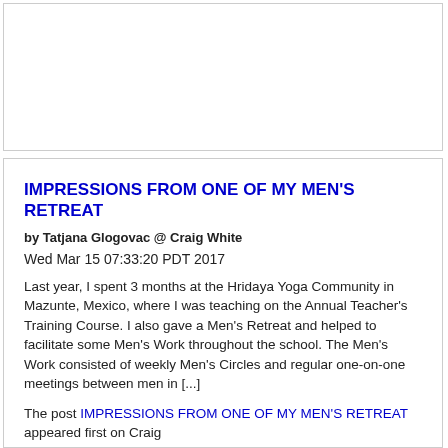IMPRESSIONS FROM ONE OF MY MEN'S RETREAT
by Tatjana Glogovac @ Craig White
Wed Mar 15 07:33:20 PDT 2017
Last year, I spent 3 months at the Hridaya Yoga Community in Mazunte, Mexico, where I was teaching on the Annual Teacher's Training Course. I also gave a Men's Retreat and helped to facilitate some Men's Work throughout the school. The Men's Work consisted of weekly Men's Circles and regular one-on-one meetings between men in [...]
The post IMPRESSIONS FROM ONE OF MY MEN'S RETREAT appeared first on Craig